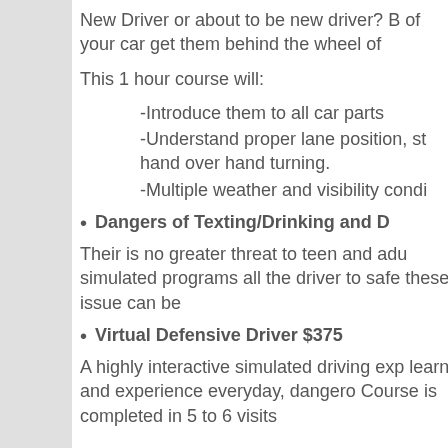New Driver or about to be new driver? B of your car get them behind the wheel of
This 1 hour course will:
-Introduce them to all car parts
-Understand proper lane position, st hand over hand turning.
-Multiple weather and visibility condi
Dangers of Texting/Drinking and D
Their is no greater threat to teen and adu simulated programs all the driver to safe these issue can be
Virtual Defensive Driver $375
A highly interactive simulated driving exp learn and experience everyday, dangero Course is completed in 5 to 6 visits